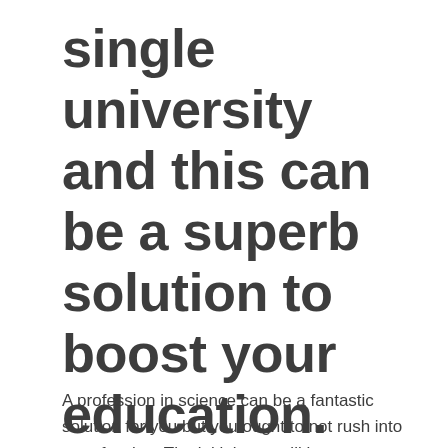single university and this can be a superb solution to boost your education.
A profession in science can be a fantastic solution for you but you ought to not rush into a profession. The initial step will be to discover ways to realize and do